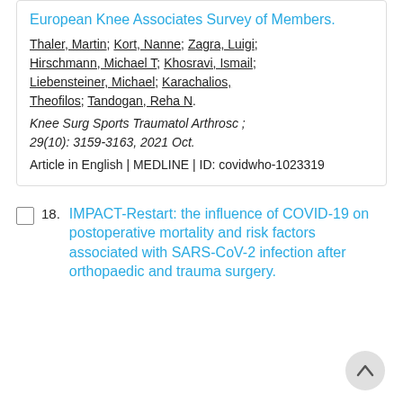European Knee Associates Survey of Members.
Thaler, Martin; Kort, Nanne; Zagra, Luigi; Hirschmann, Michael T; Khosravi, Ismail; Liebensteiner, Michael; Karachalios, Theofilos; Tandogan, Reha N.
Knee Surg Sports Traumatol Arthrosc ; 29(10): 3159-3163, 2021 Oct.
Article in English | MEDLINE | ID: covidwho-1023319
18. IMPACT-Restart: the influence of COVID-19 on postoperative mortality and risk factors associated with SARS-CoV-2 infection after orthopaedic and trauma surgery.